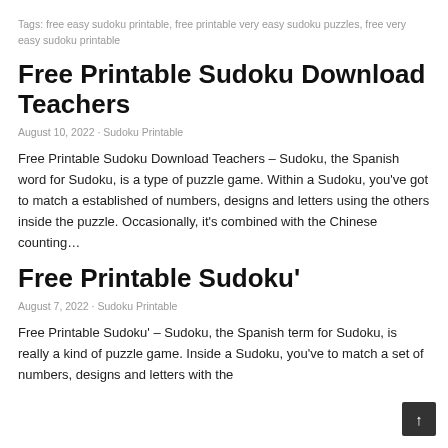Tags: free easy sudoku printable, free printable very easy sudoku puzzles, free very easy sudoku printable
Free Printable Sudoku Download Teachers
August 10, 2022 · Sudoku Printable
Free Printable Sudoku Download Teachers – Sudoku, the Spanish word for Sudoku, is a type of puzzle game. Within a Sudoku, you've got to match a established of numbers, designs and letters using the others inside the puzzle. Occasionally, it's combined with the Chinese counting…
Free Printable Sudoku&#39
August 7, 2022 · Sudoku Printable
Free Printable Sudoku&#39 – Sudoku, the Spanish term for Sudoku, is really a kind of puzzle game. Inside a Sudoku, you've to match a set of numbers, designs and letters with the